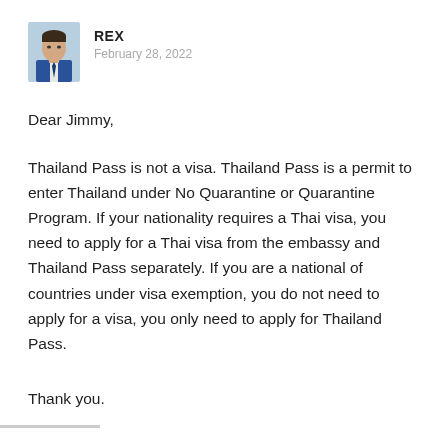[Figure (photo): Headshot of a man in a suit, profile avatar for user REX]
REX
February 28, 2022
Dear Jimmy,
Thailand Pass is not a visa. Thailand Pass is a permit to enter Thailand under No Quarantine or Quarantine Program. If your nationality requires a Thai visa, you need to apply for a Thai visa from the embassy and Thailand Pass separately. If you are a national of countries under visa exemption, you do not need to apply for a visa, you only need to apply for Thailand Pass.
Thank you.